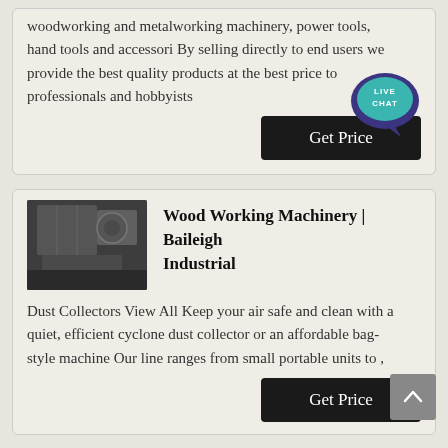woodworking and metalworking machinery, power tools, hand tools and accessori By selling directly to end users we provide the best quality products at the best price to professionals and hobbyists
[Figure (other): Live Chat speech bubble icon with text LIVE CHAT in teal/dark blue]
Get Price
[Figure (photo): Industrial machinery interior photograph, dark tones showing large equipment]
Wood Working Machinery | Baileigh Industrial
Dust Collectors View All Keep your air safe and clean with a quiet, efficient cyclone dust collector or an affordable bag-style machine Our line ranges from small portable units to ,
Get Price
[Figure (photo): Partial view of industrial machinery photo at bottom of page]